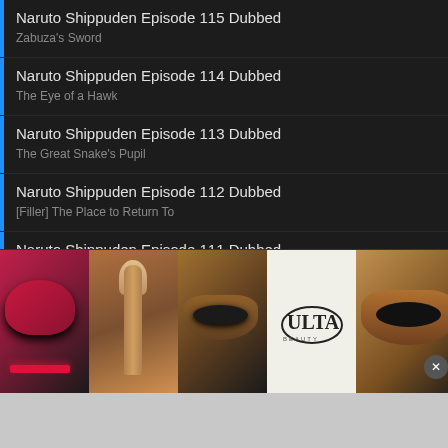Naruto Shippuden Episode 115 Dubbed
Zabuza's Sword
Naruto Shippuden Episode 114 Dubbed
The Eye of a Hawk
Naruto Shippuden Episode 113 Dubbed
The Great Snake's Pupil
Naruto Shippuden Episode 112 Dubbed
[Filler] The Place to Return To
Naruto Shippuden Episode 111 Dubbed
[Filler] The Broken Promise
Naruto Shippuden Episode 110 Dubbed
[Filler] Memories of Sin
[Figure (screenshot): ULTA Beauty advertisement banner with makeup images (lips, brush, eyes) and SHOP NOW call to action]